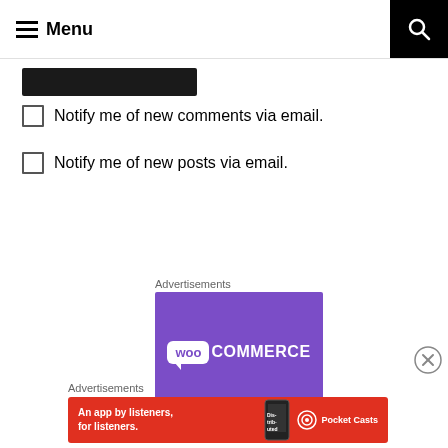≡ Menu
[Figure (screenshot): Black button/input area near top of page]
Notify me of new comments via email.
Notify me of new posts via email.
Advertisements
[Figure (logo): WooCommerce logo on purple background]
[Figure (logo): Pocket Casts advertisement: An app by listeners, for listeners.]
Advertisements